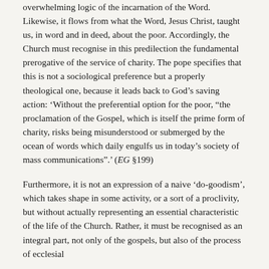overwhelming logic of the incarnation of the Word. Likewise, it flows from what the Word, Jesus Christ, taught us, in word and in deed, about the poor. Accordingly, the Church must recognise in this predilection the fundamental prerogative of the service of charity. The pope specifies that this is not a sociological preference but a properly theological one, because it leads back to God’s saving action: ‘Without the preferential option for the poor, “the proclamation of the Gospel, which is itself the prime form of charity, risks being misunderstood or submerged by the ocean of words which daily engulfs us in today’s society of mass communications”.’ (EG §199)
Furthermore, it is not an expression of a naive ‘do-goodism’, which takes shape in some activity, or a sort of a proclivity, but without actually representing an essential characteristic of the life of the Church. Rather, it must be recognised as an integral part, not only of the gospels, but also of the process of ecclesial